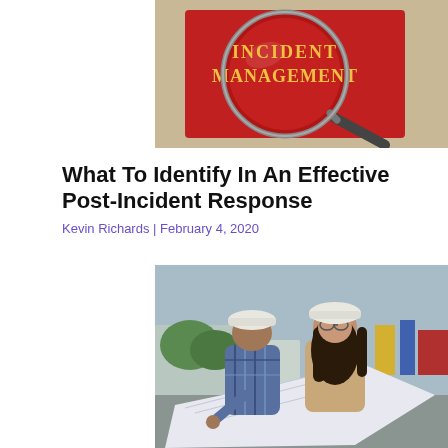[Figure (photo): A magnifying glass focused on text reading 'INCIDENT MANAGEMENT' on a red book/binder, placed on a beige/tan surface.]
What To Identify In An Effective Post-Incident Response
Kevin Richards | February 4, 2020
[Figure (photo): Two workers wearing white hard hats looking at blueprints/plans outdoors at a construction or industrial site. A woman with long dark hair and a man in a plaid shirt are leaning over large white documents.]